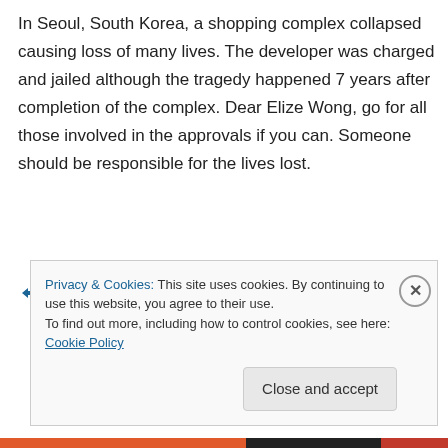In Seoul, South Korea, a shopping complex collapsed causing loss of many lives. The developer was charged and jailed although the tragedy happened 7 years after completion of the complex. Dear Elize Wong, go for all those involved in the approvals if you can. Someone should be responsible for the lives lost.
↳ Reply
Privacy & Cookies: This site uses cookies. By continuing to use this website, you agree to their use.
To find out more, including how to control cookies, see here: Cookie Policy
Close and accept